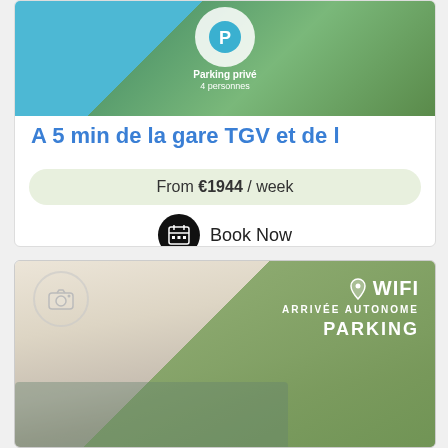[Figure (photo): Top listing card showing a property with blue wifi/parking badge overlay. Shows 'Parking privé' and '4 personnes' text on a green/outdoor background.]
A 5 min de la gare TGV et de l
From €1944 / week
Book Now
[Figure (photo): Bottom listing card showing a bedroom interior with sage green diagonal overlay. Icons and text show: WIFI, ARRIVÉE AUTONOME, PARKING. Camera icon in top left corner.]